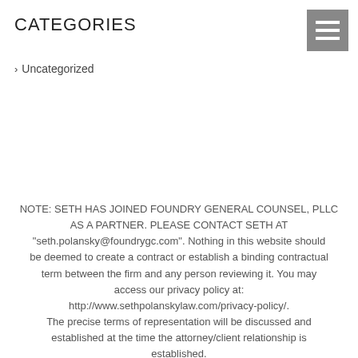CATEGORIES
[Figure (other): Hamburger menu icon (three horizontal white bars on gray square background)]
› Uncategorized
NOTE: SETH HAS JOINED FOUNDRY GENERAL COUNSEL, PLLC AS A PARTNER. PLEASE CONTACT SETH AT "seth.polansky@foundrygc.com". Nothing in this website should be deemed to create a contract or establish a binding contractual term between the firm and any person reviewing it. You may access our privacy policy at: http://www.sethpolanskylaw.com/privacy-policy/. The precise terms of representation will be discussed and established at the time the attorney/client relationship is established. 240.481.3742 - seth@sethpolanskylaw.com Copyright 2020 "The Law Office of Seth Polansky, LLC"